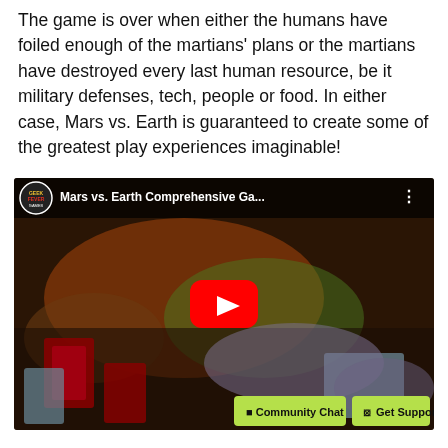The game is over when either the humans have foiled enough of the martians' plans or the martians have destroyed every last human resource, be it military defenses, tech, people or food. In either case, Mars vs. Earth is guaranteed to create some of the greatest play experiences imaginable!
[Figure (screenshot): Embedded YouTube video thumbnail showing a board game (Mars vs. Earth) being played on a table. A person's hands are visible handling cards. The video has a YouTube play button overlay. Channel logo reads 'GEEK FEVER GAMES'. Video title reads 'Mars vs. Earth Comprehensive Ga...'. Bottom bar shows 'Community Chat' and 'Get Support' buttons.]